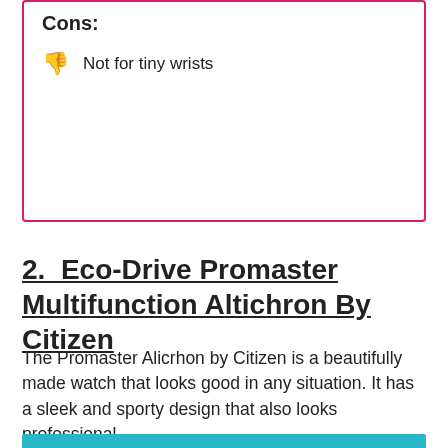Cons:
Not for tiny wrists
2. Eco-Drive Promaster Multifunction Altichron By Citizen
The Promaster Alicrhon by Citizen is a beautifully made watch that looks good in any situation. It has a sleek and sporty design that also looks professional.